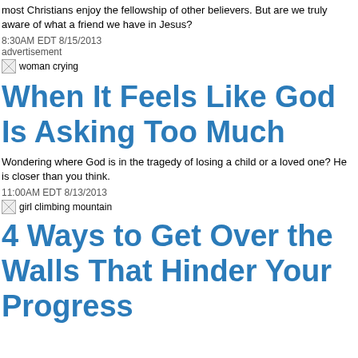most Christians enjoy the fellowship of other believers. But are we truly aware of what a friend we have in Jesus?
8:30AM EDT 8/15/2013
advertisement
[Figure (photo): woman crying (broken image placeholder)]
When It Feels Like God Is Asking Too Much
Wondering where God is in the tragedy of losing a child or a loved one? He is closer than you think.
11:00AM EDT 8/13/2013
[Figure (photo): girl climbing mountain (broken image placeholder)]
4 Ways to Get Over the Walls That Hinder Your Progress